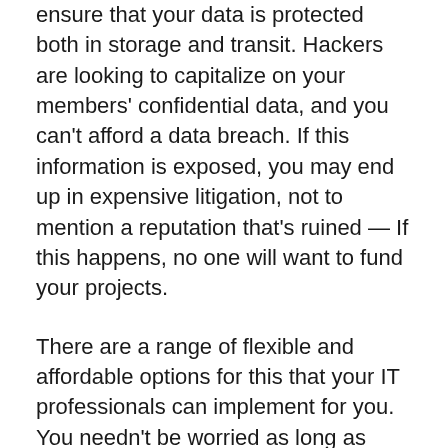ensure that your data is protected both in storage and transit. Hackers are looking to capitalize on your members' confidential data, and you can't afford a data breach. If this information is exposed, you may end up in expensive litigation, not to mention a reputation that's ruined — If this happens, no one will want to fund your projects.
There are a range of flexible and affordable options for this that your IT professionals can implement for you. You needn't be worried as long as they implement enterprise-based cybersecurity solutions and a layered defense that can automatically block and eliminate the latest threats. The idea of layering security is simple: You shouldn't rely on one security mechanism such as an antivirus to protect your confidential information. If that security mechanism fails, you have nothing left to protect you.